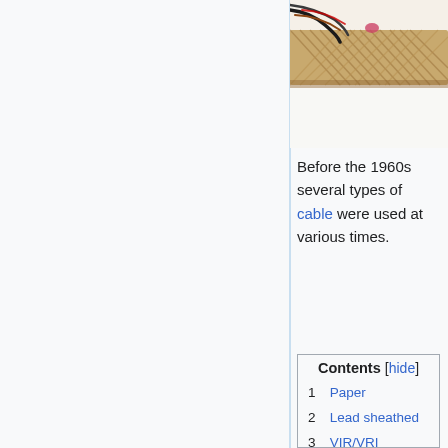[Figure (photo): Close-up photograph of braided/woven electrical cables, showing twisted conductors with brown/tan woven sheath and exposed wire ends including a black conductor, set against white background.]
Before the 1960s several types of cable were used at various times.
| # | Item |
| --- | --- |
| 1 | Paper |
| 2 | Lead sheathed |
| 3 | VIR/VRI |
| 4 | TRS |
| 5 | CTS |
| 6 | Aluminium |
| 7 | Copper Clad Aluminium |
| 8 | PBJ |
| 9 | Imperial T&E |
| 10 | Red T&E |
| 11 | Single insulated PVC |
| 12 | Red, White, Yellow & Red, White, |